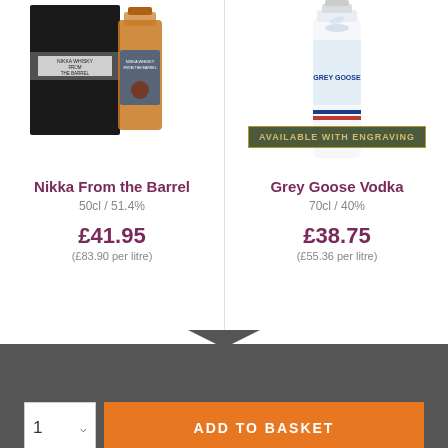[Figure (photo): Nikka From the Barrel whisky product photo showing bottle and box]
Nikka From the Barrel
50cl / 51.4%
£41.95
(£83.90 per litre)
[Figure (photo): Grey Goose Vodka bottle with 'Available with Engraving' badge]
Grey Goose Vodka
70cl / 40%
£38.75
(£55.36 per litre)
ADD TO BASKET